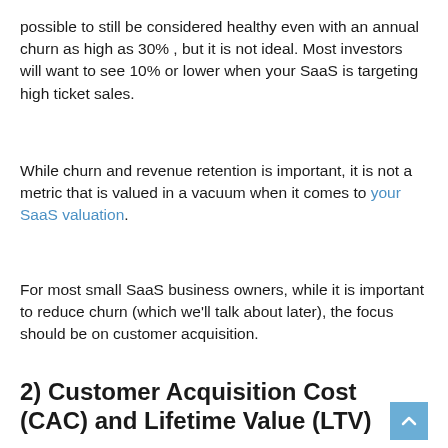possible to still be considered healthy even with an annual churn as high as 30% , but it is not ideal. Most investors will want to see 10% or lower when your SaaS is targeting high ticket sales.
While churn and revenue retention is important, it is not a metric that is valued in a vacuum when it comes to your SaaS valuation.
For most small SaaS business owners, while it is important to reduce churn (which we'll talk about later), the focus should be on customer acquisition.
2) Customer Acquisition Cost (CAC) and Lifetime Value (LTV)